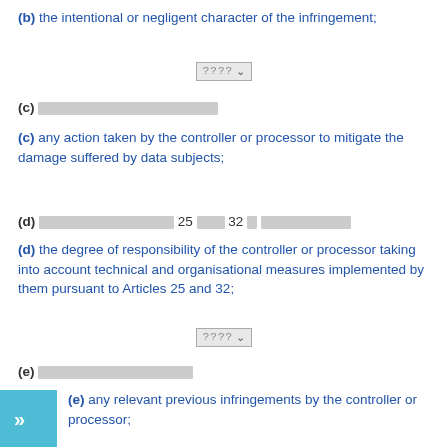(b) the intentional or negligent character of the infringement;
[redacted]
(c) [redacted text]
(c) any action taken by the controller or processor to mitigate the damage suffered by data subjects;
(d) [redacted] 25 [redacted] 32 [redacted]
(d) the degree of responsibility of the controller or processor taking into account technical and organisational measures implemented by them pursuant to Articles 25 and 32;
[redacted]
(e) [redacted text]
(e) any relevant previous infringements by the controller or processor;